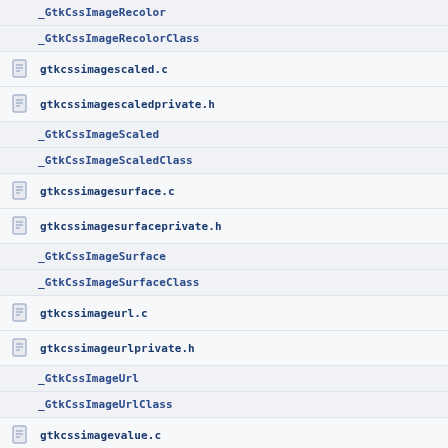_GtkCssImageRecolor
_GtkCssImageRecolorClass
gtkcssimagesscaled.c
gtkcssimagescaledprivate.h
_GtkCssImageScaled
_GtkCssImageScaledClass
gtkcssimagesurface.c
gtkcssimagesurfaceprivate.h
_GtkCssImageSurface
_GtkCssImageSurfaceClass
gtkcssimageurl.c
gtkcssimageurlprivate.h
_GtkCssImageUrl
_GtkCssImageUrlClass
gtkcssimagevalue.c